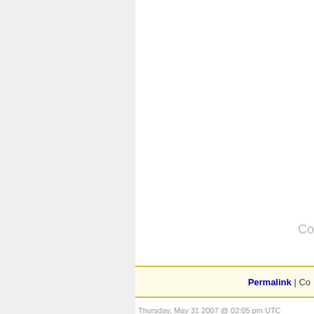Co
Permalink | Co
Thursday, May 31 2007 @ 02:05 pm UTC
Skinnyboy and the 6
Contributed by: Billy